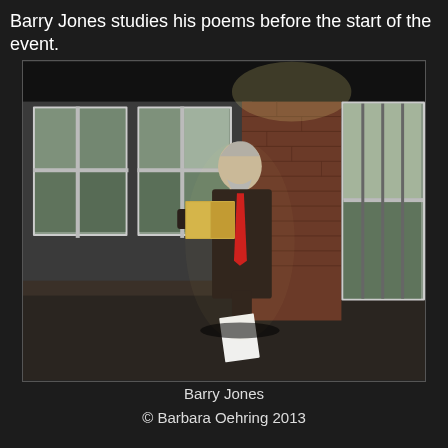Barry Jones studies his poems before the start of the event.
[Figure (photo): An older man with grey hair and beard wearing a dark suit with a red tie stands against a brick wall with large white-framed windows, reading from a book he holds open, with papers in his other hand. The setting appears to be an industrial or heritage building exterior.]
Barry Jones
© Barbara Oehring 2013